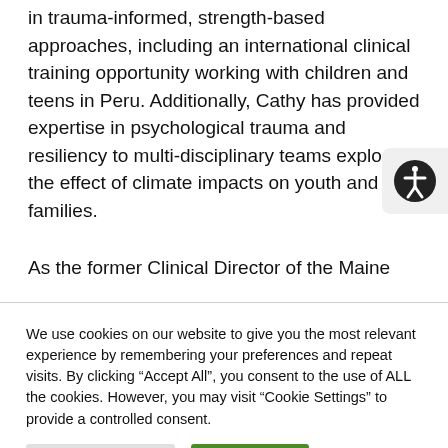in trauma-informed, strength-based approaches, including an international clinical training opportunity working with children and teens in Peru. Additionally, Cathy has provided expertise in psychological trauma and resiliency to multi-disciplinary teams exploring the effect of climate impacts on youth and families.
As the former Clinical Director of the Maine
We use cookies on our website to give you the most relevant experience by remembering your preferences and repeat visits. By clicking “Accept All”, you consent to the use of ALL the cookies. However, you may visit “Cookie Settings” to provide a controlled consent.